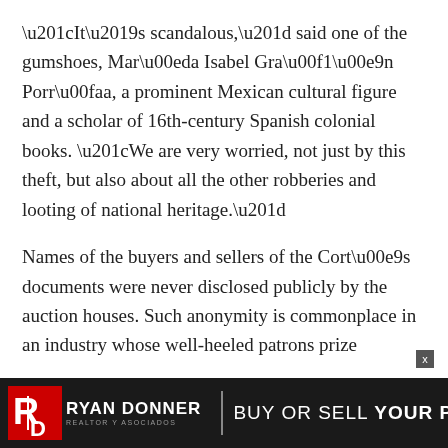“It’s scandalous,” said one of the gumshoes, María Isabel Grañén Porrúa, a prominent Mexican cultural figure and a scholar of 16th-century Spanish colonial books. “We are very worried, not just by this theft, but also about all the other robberies and looting of national heritage.”
Names of the buyers and sellers of the Cortés documents were never disclosed publicly by the auction houses. Such anonymity is commonplace in an industry whose well-heeled patrons prize
[Figure (logo): Ryan Donner Realtor y Asociados logo with stylized RD icon and advertisement text: BUY OR SELL YOUR PROPERTY WITH US]